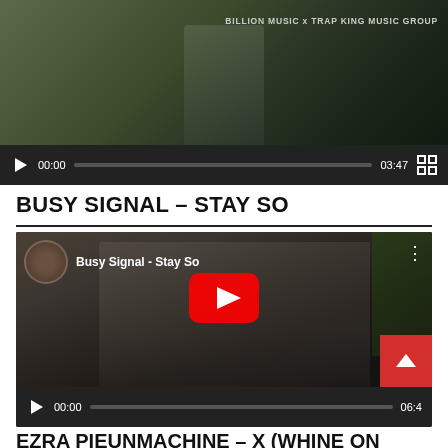[Figure (screenshot): Video player with dark thumbnail showing person with gold chains, text 'BILLION MUSIC x TRAP KING MUSIC GROUP', controls showing 00:00 / 03:47]
BUSY SIGNAL – STAY SO
[Figure (screenshot): YouTube embedded video player for 'Busy Signal - Stay So' showing man with sunglasses and flat cap, YouTube play button overlay, controls showing 00:00 / 06:4x]
EZRA PIEUNMACHINE – X (WHINE ON